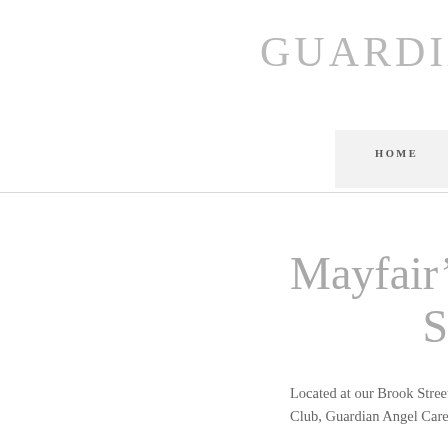GUARDIA
HOME   PERSONAL CRISIS RESPONSE
Mayfair's Personal C... S...
Located at our Brook Street headquarters and Club, Guardian Angel Care exists to serve